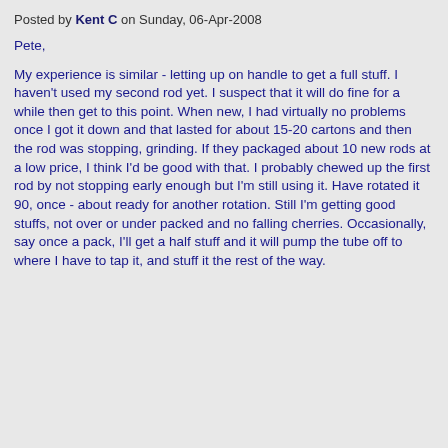Posted by Kent C on Sunday, 06-Apr-2008
Pete,
My experience is similar - letting up on handle to get a full stuff. I haven't used my second rod yet. I suspect that it will do fine for a while then get to this point. When new, I had virtually no problems once I got it down and that lasted for about 15-20 cartons and then the rod was stopping, grinding. If they packaged about 10 new rods at a low price, I think I'd be good with that. I probably chewed up the first rod by not stopping early enough but I'm still using it. Have rotated it 90, once - about ready for another rotation. Still I'm getting good stuffs, not over or under packed and no falling cherries. Occasionally, say once a pack, I'll get a half stuff and it will pump the tube off to where I have to tap it, and stuff it the rest of the way.